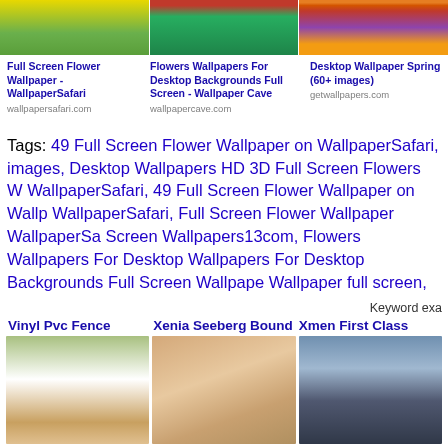[Figure (photo): Three thumbnail images of flower wallpapers at top: sunflowers, green grass/red flowers, mixed colorful flowers]
Full Screen Flower Wallpaper - WallpaperSafari
wallpapersafari.com
Flowers Wallpapers For Desktop Backgrounds Full Screen - Wallpaper Cave
wallpapercave.com
Desktop Wallpaper Spring (60+ images)
getwallpapers.com
Tags: 49 Full Screen Flower Wallpaper on WallpaperSafari, images, Desktop Wallpapers HD 3D Full Screen Flowers W WallpaperSafari, 49 Full Screen Flower Wallpaper on Wallp WallpaperSafari, Full Screen Flower Wallpaper WallpaperSa Screen Wallpapers13com, Flowers Wallpapers For Desktop Wallpapers For Desktop Backgrounds Full Screen Wallpape Wallpaper full screen,
Keyword exa
Vinyl Pvc Fence   Xenia Seeberg Bound   Xmen First Class
[Figure (photo): Three thumbnail images at bottom: white vinyl fence, blonde woman, X-Men First Class movie poster]